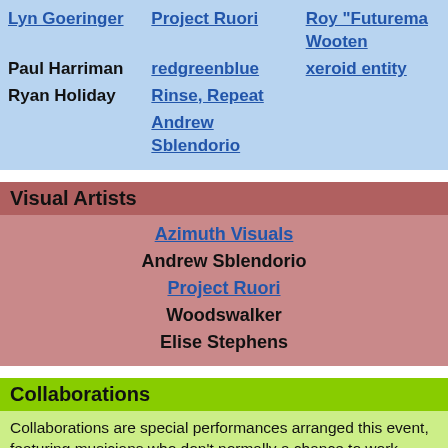|  |  |  |
| --- | --- | --- |
| Lyn Goeringer | Project Ruori | Roy "Futurema... Wooten |
| Paul Harriman | redgreenblue | xeroid entity |
| Ryan Holiday | Rinse, Repeat |  |
|  | Andrew Sblendorio |  |
Visual Artists
| Azimuth Visuals |
| Andrew Sblendorio |
| Project Ruori |
| Woodswalker |
| Elise Stephens |
Collaborations
Collaborations are special performances arranged this event, featuring musicians who don't normally a chance to work together. Participants in each collaboration are selected by the leader.
Modular Synth collab   Mike Hunter